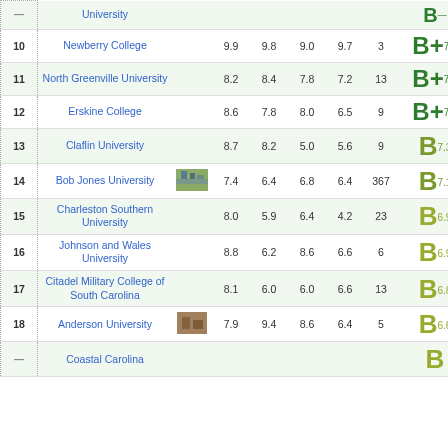| Rank | Name | Image | Score1 | Score2 | Score3 | Score4 | Count | Grade |
| --- | --- | --- | --- | --- | --- | --- | --- | --- |
| 10 | Newberry College |  | 9.9 | 9.8 | 9.0 | 9.7 | 3 | B+ 7.5 |
| 11 | North Greenville University |  | 8.2 | 8.4 | 7.8 | 7.2 | 13 | B+ 7.5 |
| 12 | Erskine College |  | 8.6 | 7.8 | 8.0 | 6.5 | 9 | B+ 7.4 |
| 13 | Claflin University |  | 8.7 | 8.2 | 5.0 | 5.6 | 9 | B 7.3 |
| 14 | Bob Jones University | [image] | 7.4 | 6.4 | 6.8 | 6.4 | 367 | B 7.1 |
| 15 | Charleston Southern University |  | 8.0 | 5.9 | 6.4 | 4.2 | 23 | B 6.9 |
| 16 | Johnson and Wales University |  | 8.8 | 6.2 | 8.6 | 6.6 | 6 | B 6.9 |
| 17 | Citadel Military College of South Carolina |  | 8.1 | 6.0 | 6.0 | 6.6 | 13 | B 6.8 |
| 18 | Anderson University | [image] | 7.9 | 9.4 | 8.6 | 6.4 | 5 | B 6.6 |
| 19 | Coastal Carolina |  |  |  |  |  |  | B |